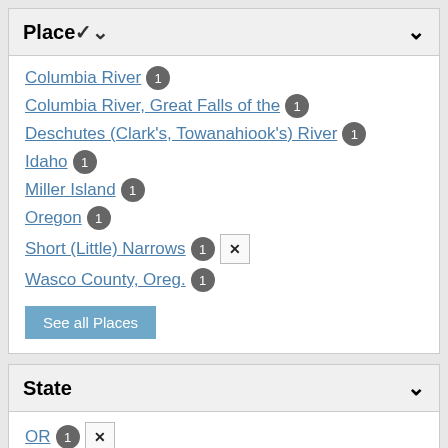Place
Columbia River 1
Columbia River, Great Falls of the 1
Deschutes (Clark's, Towanahiook's) River 1
Idaho 1
Miller Island 1
Oregon 1
Short (Little) Narrows 1 [remove]
Wasco County, Oreg. 1
See all Places
State
OR 1 [remove]